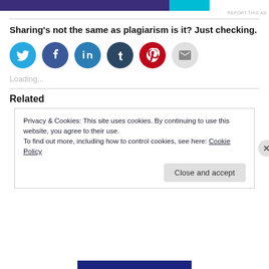[Figure (other): Advertisement banner with purple and cyan bars, with 'REPORT THIS AD' text]
Sharing's not the same as plagiarism is it? Just checking.
[Figure (infographic): Social sharing icons: Twitter (blue), Facebook (blue), LinkedIn (teal), Tumblr (dark navy), Pinterest (red), Email (light gray)]
Loading...
Related
Privacy & Cookies: This site uses cookies. By continuing to use this website, you agree to their use.
To find out more, including how to control cookies, see here: Cookie Policy
Close and accept